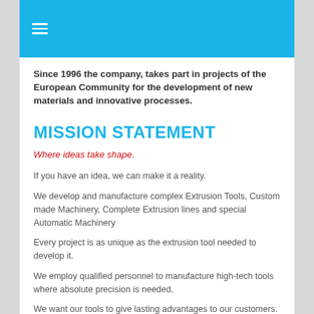≡
Since 1996 the company, takes part in projects of the European Community for the development of new materials and innovative processes.
MISSION STATEMENT
Where ideas take shape.
If you have an idea, we can make it a reality.
We develop and manufacture complex Extrusion Tools, Custom made Machinery, Complete Extrusion lines and special Automatic Machinery
Every project is as unique as the extrusion tool needed to develop it.
We employ qualified personnel to manufacture high-tech tools where absolute precision is needed.
We want our tools to give lasting advantages to our customers.